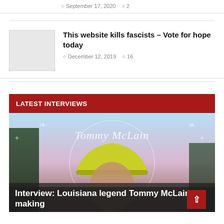September 17, 2020  2
This website kills fascists – Vote for hope today
December 12, 2019  16
LATEST INTERVIEWS
[Figure (photo): Photo of Tommy McLain wearing a yellow-green cowboy hat, with decorative script logo 'Tommy McLain' overlay and trees/sky background]
Interview: Louisiana legend Tommy McLain on making